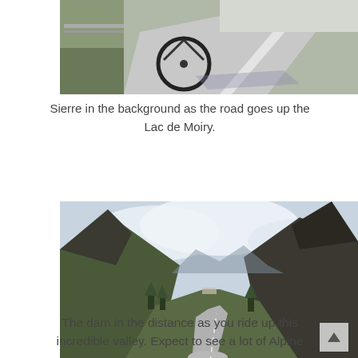[Figure (photo): Close-up of a bicycle on a mountain road with a white line, with Sierre visible in the background. Road curves up toward Lac de Moiry.]
Sierre in the background as the road goes up the Lac de Moiry.
[Figure (photo): A winding mountain road through a steep alpine valley with green grassy slopes and rocky peaks. Cloudy sky above. A dam is visible in the distance.]
The dam in the distance as you ride up this incredible valley. Expect to see a lot of Alpine